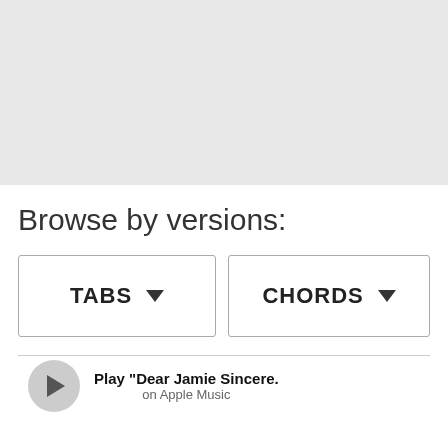[Figure (other): Gray placeholder area at the top of the page]
Browse by versions:
TABS ▼
CHORDS ▼
Play "Dear Jamie Sincere. on Apple Music